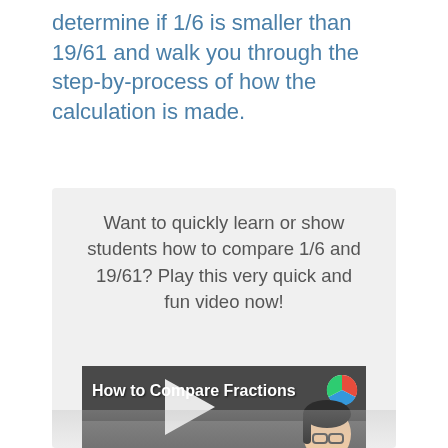determine if 1/6 is smaller than 19/61 and walk you through the step-by-process of how the calculation is made.
Want to quickly learn or show students how to compare 1/6 and 19/61? Play this very quick and fun video now!
[Figure (screenshot): Video thumbnail showing 'How to Compare Fractions' with a cartoon character (woman with glasses) and a play button in the center]